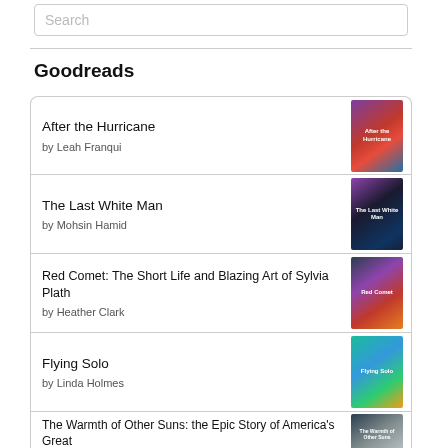Search
Goodreads
After the Hurricane by Leah Franqui
The Last White Man by Mohsin Hamid
Red Comet: The Short Life and Blazing Art of Sylvia Plath by Heather Clark
Flying Solo by Linda Holmes
The Warmth of Other Suns: the Epic Story of America's Great